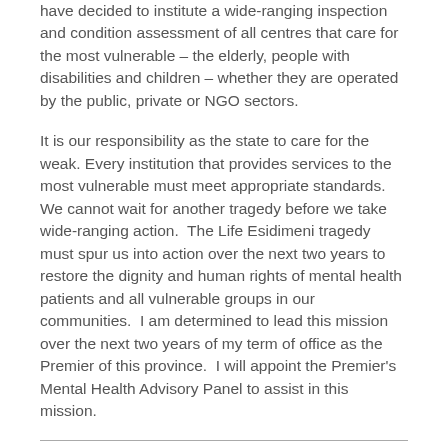have decided to institute a wide-ranging inspection and condition assessment of all centres that care for the most vulnerable – the elderly, people with disabilities and children – whether they are operated by the public, private or NGO sectors.
It is our responsibility as the state to care for the weak. Every institution that provides services to the most vulnerable must meet appropriate standards. We cannot wait for another tragedy before we take wide-ranging action.  The Life Esidimeni tragedy must spur us into action over the next two years to restore the dignity and human rights of mental health patients and all vulnerable groups in our communities.  I am determined to lead this mission over the next two years of my term of office as the Premier of this province.  I will appoint the Premier's Mental Health Advisory Panel to assist in this mission.
Clearly, this is a moment we should seize in the manner suggested by Crick and others. SECTION27 is ready to